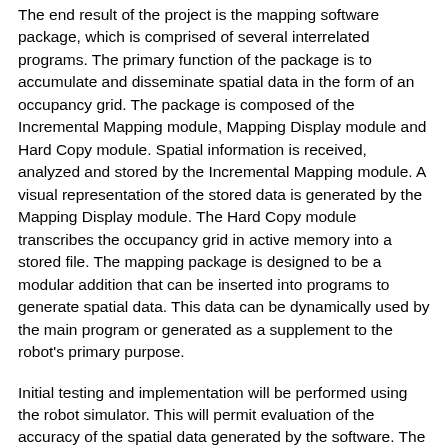The end result of the project is the mapping software package, which is comprised of several interrelated programs. The primary function of the package is to accumulate and disseminate spatial data in the form of an occupancy grid. The package is composed of the Incremental Mapping module, Mapping Display module and Hard Copy module. Spatial information is received, analyzed and stored by the Incremental Mapping module. A visual representation of the stored data is generated by the Mapping Display module. The Hard Copy module transcribes the occupancy grid in active memory into a stored file. The mapping package is designed to be a modular addition that can be inserted into programs to generate spatial data. This data can be dynamically used by the main program or generated as a supplement to the robot's primary purpose.
Initial testing and implementation will be performed using the robot simulator. This will permit evaluation of the accuracy of the spatial data generated by the software. The simulator allows the specification of spatial data in the form of a diagram called a “world” and this can be directly compared to the software’s output. Identical grids can be drawn and cell comparison can yield a qualitative answer to the accuracy of the mapping software.